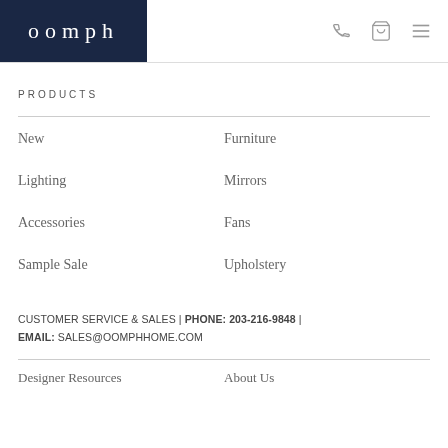oomph
PRODUCTS
New
Furniture
Lighting
Mirrors
Accessories
Fans
Sample Sale
Upholstery
CUSTOMER SERVICE & SALES | PHONE: 203-216-9848 | EMAIL: SALES@OOMPHHOME.COM
Designer Resources
About Us